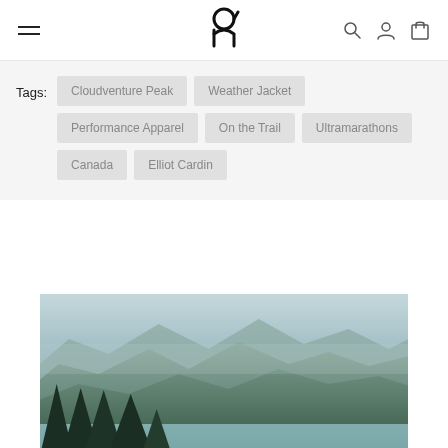On running — navigation header with hamburger menu, logo, search, account, and cart icons
Tags: Cloudventure Peak, Weather Jacket, Performance Apparel, On the Trail, Ultramarathons, Canada, Elliot Cardin
[Figure (photo): Mountain landscape with evergreen trees in foreground and misty blue-green mountain ridges in background]